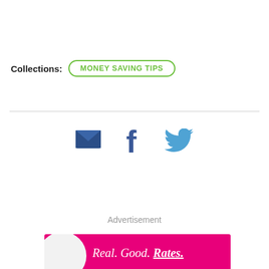Collections: MONEY SAVING TIPS
[Figure (infographic): Social share icons: envelope (email), Facebook logo, Twitter bird logo]
Advertisement
[Figure (photo): Advertisement banner with pink background showing 'Real. Good. Rates.' text with a circular image element on the left]